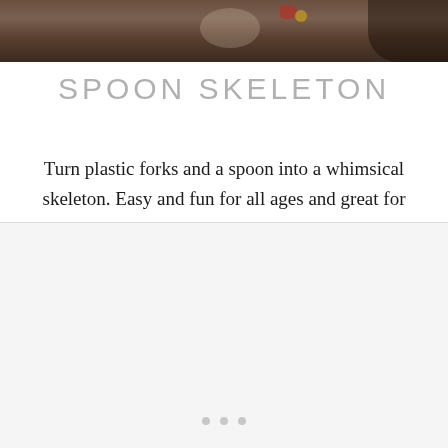[Figure (photo): Photo of plastic forks and a spoon arranged on a surface, craft project materials for making a skeleton]
SPOON SKELETON
Turn plastic forks and a spoon into a whimsical skeleton. Easy and fun for all ages and great for Halloween.
[Figure (other): Lower content area with light gray background, mostly blank with three small dots at the bottom center]